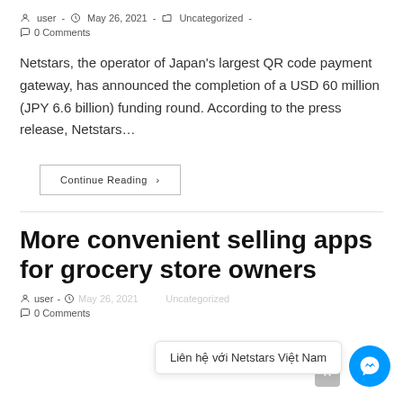user · May 26, 2021 · Uncategorized · 0 Comments
Netstars, the operator of Japan's largest QR code payment gateway, has announced the completion of a USD 60 million (JPY 6.6 billion) funding round. According to the press release, Netstars…
Continue Reading ›
More convenient selling apps for grocery store owners
user · May 26, 2021 · Uncategorized · 0 Comments
Liên hệ với Netstars Việt Nam